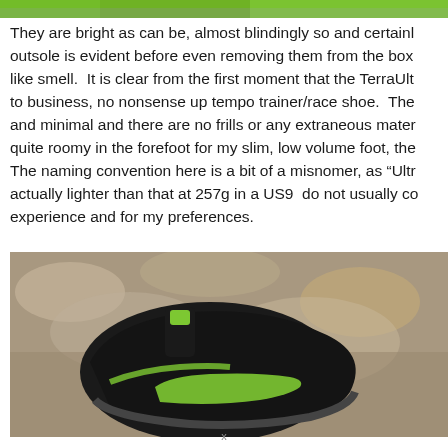[Figure (photo): Top partial image showing bright green and natural/grass background, cropped at top of page]
They are bright as can be, almost blindingly so and certainly the outsole is evident before even removing them from the box. like smell.  It is clear from the first moment that the TerraUlt to business, no nonsense up tempo trainer/race shoe.  The and minimal and there are no frills or any extraneous mater quite roomy in the forefoot for my slim, low volume foot, the The naming convention here is a bit of a misnomer, as “Ultr actually lighter than that at 257g in a US9  do not usually co experience and for my preferences.
[Figure (photo): Photo of a black and green trail running shoe on a rocky/gravelly surface, seen from above at an angle]